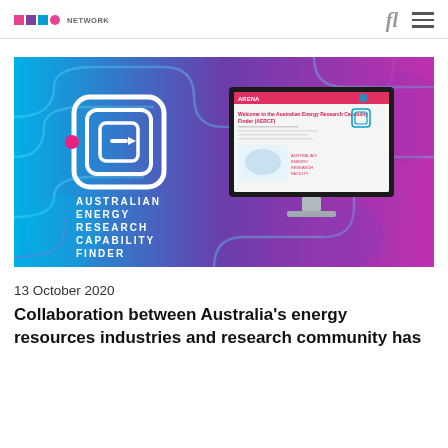ARENA Network
[Figure (illustration): Australian Energy Research Capability Finder promotional image showing the AERCF logo and a computer monitor displaying the AERCF website, on a blue-to-purple gradient background with circuit-board pattern]
13 October 2020
Collaboration between Australia's energy resources industries and research community has